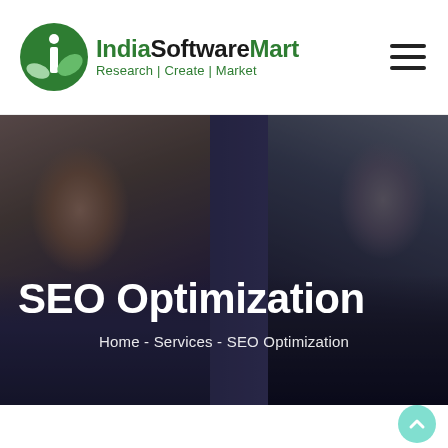[Figure (logo): IndiaSoftwareMart logo with green leaf/globe icon and text 'IndiaSoftwareMart Research | Create | Market']
[Figure (photo): Hero banner image showing two men in dark suits facing each other in a dimly lit setting, with text overlay 'SEO Optimization' and breadcrumb 'Home - Services - SEO Optimization']
SEO Optimization
Home - Services - SEO Optimization